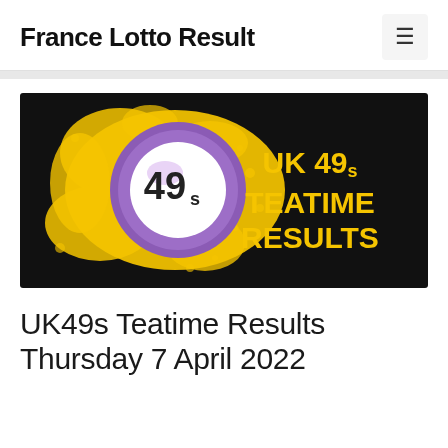France Lotto Result
[Figure (illustration): UK 49s Teatime Results banner: black background with yellow paint splash, purple lottery ball showing '49s', bold yellow text reading 'UK 49s TEATIME RESULTS']
UK49s Teatime Results Thursday 7 April 2022